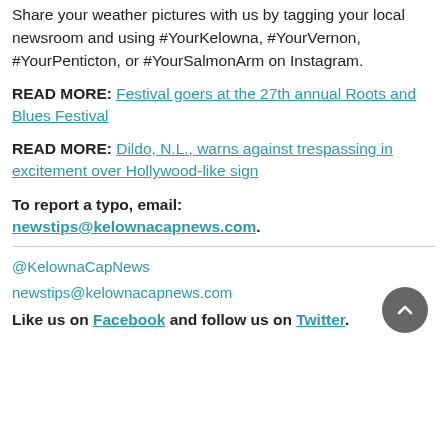Share your weather pictures with us by tagging your local newsroom and using #YourKelowna, #YourVernon, #YourPenticton, or #YourSalmonArm on Instagram.
READ MORE: Festival goers at the 27th annual Roots and Blues Festival
READ MORE: Dildo, N.L., warns against trespassing in excitement over Hollywood-like sign
To report a typo, email: newstips@kelownacapnews.com.
@KelownaCapNews
newstips@kelownacapnews.com
Like us on Facebook and follow us on Twitter.